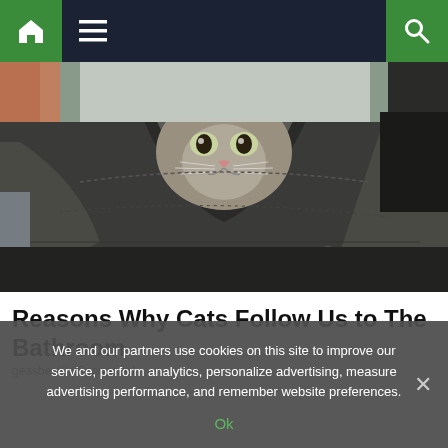Navigation bar with home, menu, and search icons
[Figure (photo): A tabby cat peeking out from inside a dark jacket or bag being held open by a person's hands]
Reasons Why Cats Follow Us to The Bathroom
geasbest2 | Sponsored
We and our partners use cookies on this site to improve our service, perform analytics, personalize advertising, measure advertising performance, and remember website preferences.
Ok